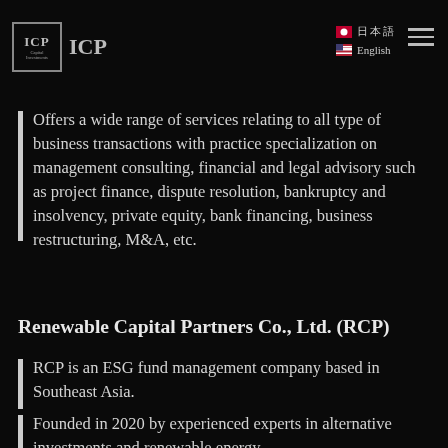ICP Capital Investments — language selector: Japanese, English — hamburger menu
IRIDZ is an Indonesian consulting company offering variety of services to private enterprises, state-owned enterprises, banks, financial institutions, etc.
Offers a wide range of services relating to all type of business transactions with practice specialization on management consulting, financial and legal advisory such as project finance, dispute resolution, bankruptcy and insolvency, private equity, bank financing, business restructuring, M&A, etc.
Renewable Capital Partners Co., Ltd. (RCP)
RCP is an ESG fund management company based in Southeast Asia.
Founded in 2020 by experienced experts in alternative investments and renewable energy